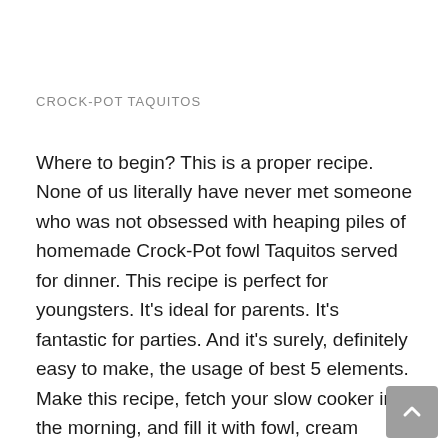CROCK-POT TAQUITOS
Where to begin? This is a proper recipe. None of us literally have never met someone who was not obsessed with heaping piles of homemade Crock-Pot fowl Taquitos served for dinner. This recipe is perfect for youngsters. It's ideal for parents. It's fantastic for parties. And it's surely, definitely easy to make, the usage of best 5 elements. Make this recipe, fetch your slow cooker in the morning, and fill it with fowl, cream cheese, and taco seasoning. Add a touch water to hold it all wet, then cover and cook during the day.
Once baked, these taquitos are ready to serve! we like